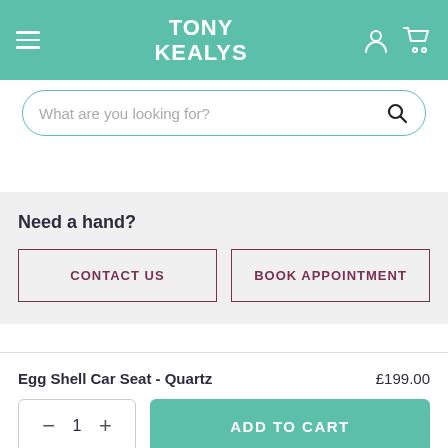TONY KEALYS
What are you looking for?
Need a hand?
CONTACT US
BOOK APPOINTMENT
Egg Shell Car Seat - Quartz
£199.00
1
ADD TO CART